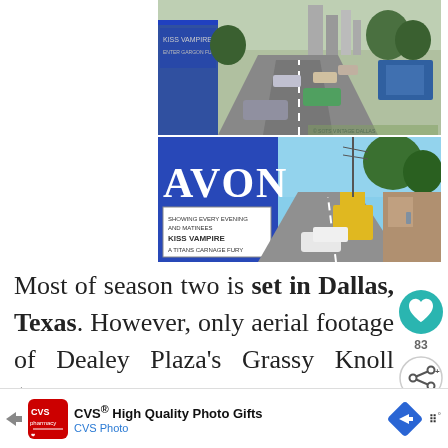[Figure (photo): Top photo: Vintage street scene in Dallas, Texas showing a road with old cars, storefronts including a theater showing 'Kiss Vampire', and a city skyline in the background.]
[Figure (photo): Bottom photo: Modern Google Street View of the same Dallas street showing the Avon theater with 'Kiss Vampire' on the marquee, storefronts, a yellow truck, and trees lining the street.]
Most of season two is set in Dallas, Texas. However, only aerial footage of Dealey Plaza's Grassy Knoll (where President John F. Kennedy was hit in
[Figure (infographic): Sidebar with a teal heart button (like/favorite), count of 83, and a share button with an arrow icon.]
CVS® High Quality Photo Gifts — CVS Photo (advertisement banner)